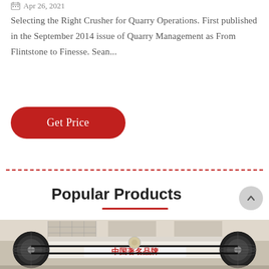Apr 26, 2021
Selecting the Right Crusher for Quarry Operations. First published in the September 2014 issue of Quarry Management as From Flintstone to Finesse. Sean...
Get Price
[Figure (other): Horizontal dashed red divider line]
Popular Products
[Figure (photo): Industrial crusher machine with black pulleys and Chinese text '中国著名品牌' (China Famous Brand) on a white plate, displayed in a factory showroom]